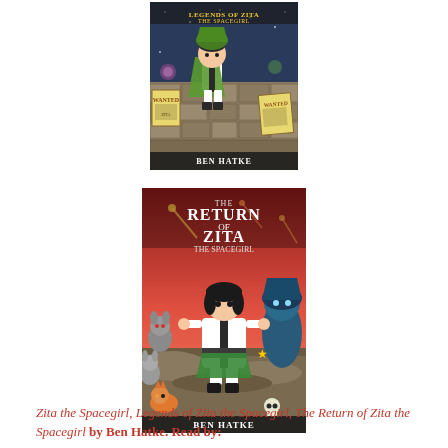[Figure (illustration): Book cover of 'Legends of Zita the Spacegirl' by Ben Hatke, showing a cartoon girl in a green cape surrounded by wanted posters and alien creatures]
[Figure (illustration): Book cover of 'The Return of Zita the Spacegirl' by Ben Hatke, showing a cartoon girl in white and black outfit with alien creatures on a red/pink background]
Zita the Spacegirl, Legends of Zita the Spacegirl, The Return of Zita the Spacegirl by Ben Hatke. Read by: